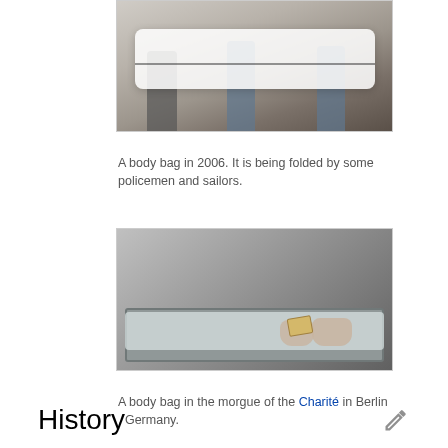[Figure (photo): Three people (policemen and sailors) holding and folding a white body bag, standing on a wooden floor in 2006.]
A body bag in 2006. It is being folded by some policemen and sailors.
[Figure (photo): A body bag in the morgue of the Charité in Berlin, Germany. Feet with a tag visible at one end of the bag on a metal gurney.]
A body bag in the morgue of the Charité in Berlin , Germany.
History